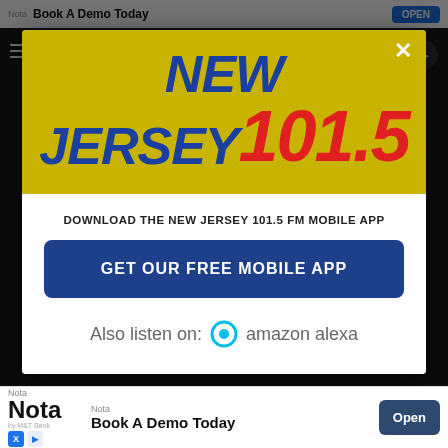[Figure (screenshot): Background app screen with dark navigation bar and content partially visible]
[Figure (screenshot): Modal popup for New Jersey 101.5 FM radio station app download. Contains logo with 'NEW JERSEY' in blue italic bold and '101.5' in red italic bold on a golden/yellow background. Below on white background: text 'DOWNLOAD THE NEW JERSEY 101.5 FM MOBILE APP', a dark blue button 'GET OUR FREE MOBILE APP', and an Amazon Alexa listen option.]
DOWNLOAD THE NEW JERSEY 101.5 FM MOBILE APP
GET OUR FREE MOBILE APP
Also listen on: amazon alexa
[Figure (screenshot): Bottom advertisement bar: Nota logo with 'Book A Demo Today' text and an Open button]